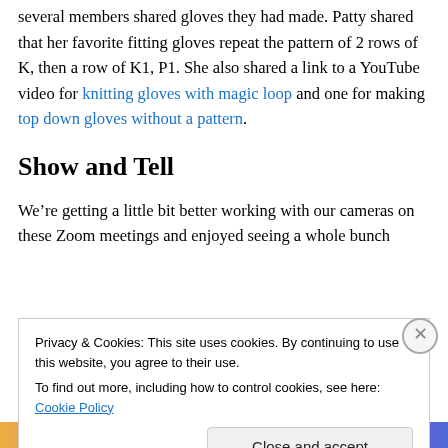several members shared gloves they had made. Patty shared that her favorite fitting gloves repeat the pattern of 2 rows of K, then a row of K1, P1. She also shared a link to a YouTube video for knitting gloves with magic loop and one for making top down gloves without a pattern.
Show and Tell
We're getting a little bit better working with our cameras on these Zoom meetings and enjoyed seeing a whole bunch
Privacy & Cookies: This site uses cookies. By continuing to use this website, you agree to their use.
To find out more, including how to control cookies, see here: Cookie Policy